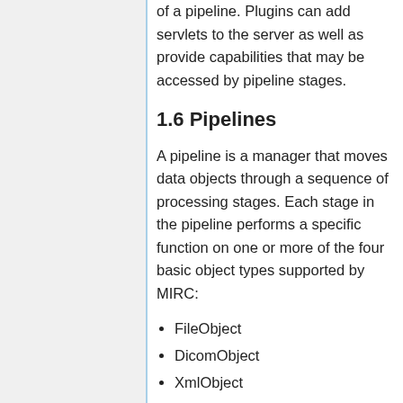of a pipeline. Plugins can add servlets to the server as well as provide capabilities that may be accessed by pipeline stages.
1.6 Pipelines
A pipeline is a manager that moves data objects through a sequence of processing stages. Each stage in the pipeline performs a specific function on one or more of the four basic object types supported by MIRC:
FileObject
DicomObject
XmlObject
ZipObject
Each pipeline must contain at least one ImportService. Each pipeline stage may be provided access to a quarantine